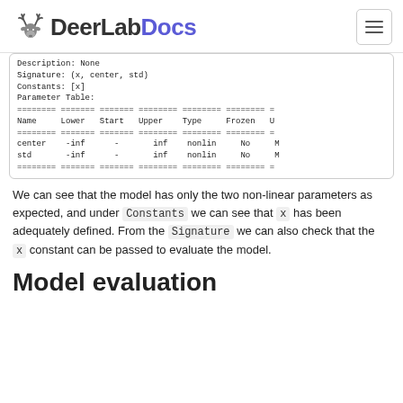DeerLabDocs
| Name | Lower | Start | Upper | Type | Frozen | U |
| --- | --- | --- | --- | --- | --- | --- |
| center | -inf | - | inf | nonlin | No | M |
| std | -inf | - | inf | nonlin | No | M |
We can see that the model has only the two non-linear parameters as expected, and under Constants we can see that x has been adequately defined. From the Signature we can also check that the x constant can be passed to evaluate the model.
Model evaluation